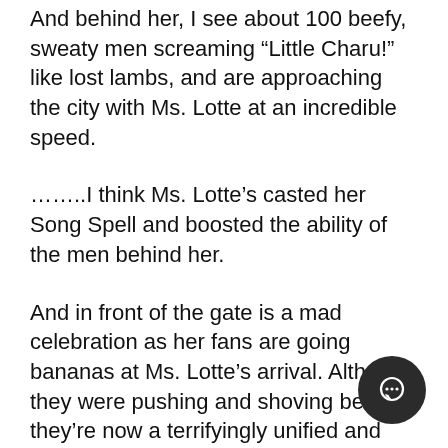And behind her, I see about 100 beefy, sweaty men screaming “Little Charu!” like lost lambs, and are approaching the city with Ms. Lotte at an incredible speed.
……..I think Ms. Lotte’s casted her Song Spell and boosted the ability of the men behind her.
And in front of the gate is a mad celebration as her fans are going bananas at Ms. Lotte’s arrival. Although they were pushing and shoving before, they’re now a terrifyingly unified and organized group.
I thought I saw one of my Party Members within that horde, but it is